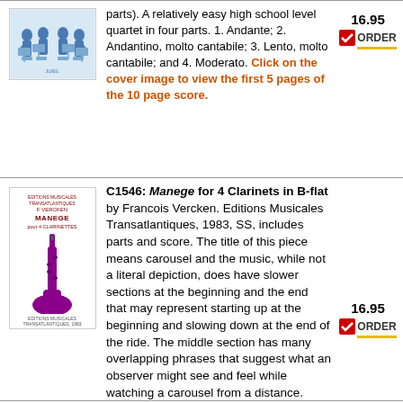[Figure (illustration): Blue illustration of musicians playing in a quartet, seated around music stands]
parts). A relatively easy high school level quartet in four parts. 1. Andante; 2. Andantino, molto cantabile; 3. Lento, molto cantabile; and 4. Moderato. Click on the cover image to view the first 5 pages of the 10 page score.
16.95
ORDER
[Figure (illustration): Book cover for Manege for 4 Clarinets in B-flat by F. Vercken, showing large purple clarinet illustration]
C1546: Manege for 4 Clarinets in B-flat by Francois Vercken. Editions Musicales Transatlantiques, 1983, SS, includes parts and score. The title of this piece means carousel and the music, while not a literal depiction, does have slower sections at the beginning and the end that may represent starting up at the beginning and slowing down at the end of the ride. The middle section has many overlapping phrases that suggest what an observer might see and feel while watching a carousel from a distance.
16.95
ORDER